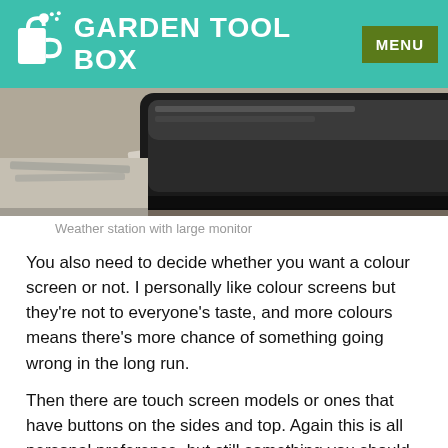GARDEN TOOL BOX
[Figure (photo): Close-up photo of a weather station with a large monitor display, showing a dark-framed screen with papers/books underneath]
Weather station with large monitor
You also need to decide whether you want a colour screen or not. I personally like colour screens but they're not to everyone's taste, and more colours means there's more chance of something going wrong in the long run.
Then there are touch screen models or ones that have buttons on the sides and top. Again this is all personal preference, but still something you should think about.
Power supply
Some weather stations are only powered by batteries while others will have the option of batteries or a power